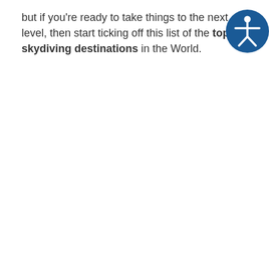but if you're ready to take things to the next level, then start ticking off this list of the top skydiving destinations in the World.
[Figure (illustration): Accessibility icon — blue circle with white figure of a person with arms outstretched]